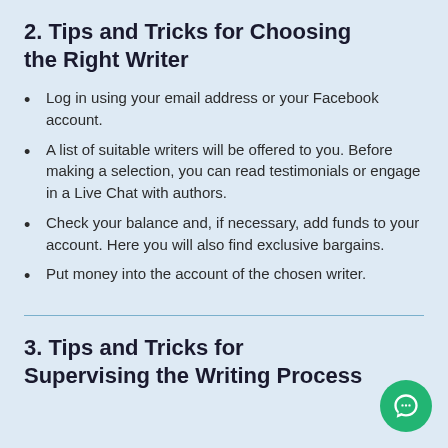2. Tips and Tricks for Choosing the Right Writer
Log in using your email address or your Facebook account.
A list of suitable writers will be offered to you. Before making a selection, you can read testimonials or engage in a Live Chat with authors.
Check your balance and, if necessary, add funds to your account. Here you will also find exclusive bargains.
Put money into the account of the chosen writer.
3. Tips and Tricks for Supervising the Writing Process